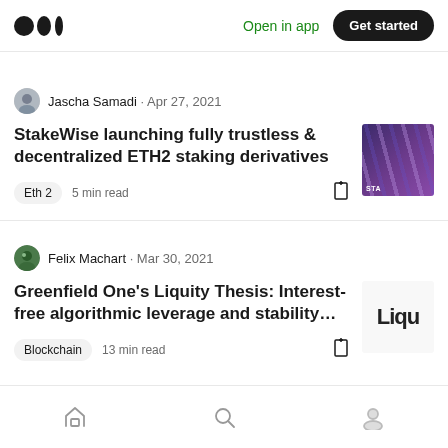Medium — Open in app | Get started
Jascha Samadi · Apr 27, 2021
StakeWise launching fully trustless & decentralized ETH2 staking derivatives
Eth 2   5 min read
Felix Machart · Mar 30, 2021
Greenfield One's Liquity Thesis: Interest-free algorithmic leverage and stability…
Blockchain   13 min read
Home | Search | Profile